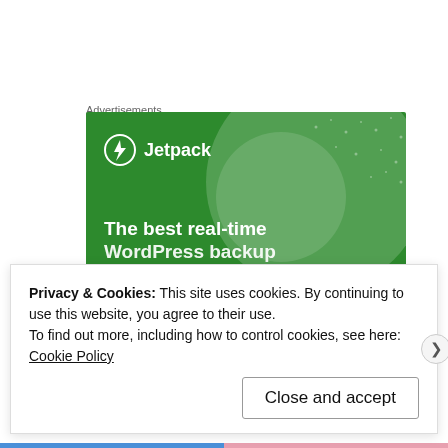Advertisements
[Figure (illustration): Jetpack advertisement banner with green background, large translucent circle, Jetpack logo (lightning bolt icon and 'Jetpack' text), and headline text 'The best real-time WordPress backup']
“Never have I ever lied to my parents.”
(faded/partially visible text below)
Privacy & Cookies: This site uses cookies. By continuing to use this website, you agree to their use.
To find out more, including how to control cookies, see here: Cookie Policy
Close and accept